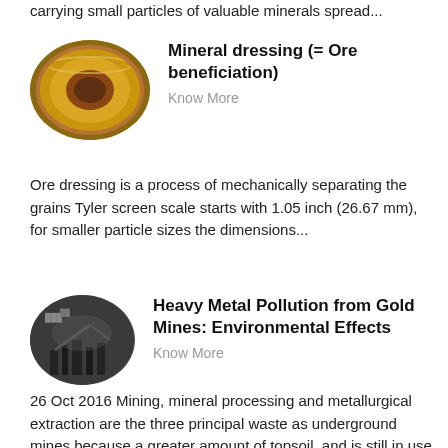carrying small particles of valuable minerals spread...
[Figure (photo): Gold/bronze colored circular bowl or pan used in mineral dressing, photographed from above at an angle]
Mineral dressing (= Ore beneficiation)
Know More
Ore dressing is a process of mechanically separating the grains Tyler screen scale starts with 1.05 inch (26.67 mm), for smaller particle sizes the dimensions...
[Figure (photo): Industrial mining machinery, dark silhouette, oval cropped photo]
Heavy Metal Pollution from Gold Mines: Environmental Effects
Know More
26 Oct 2016 Mining, mineral processing and metallurgical extraction are the three principal waste as underground mines because a greater amount of topsoil, and is still in use today by artisanal and small-scale operators (ASM)...